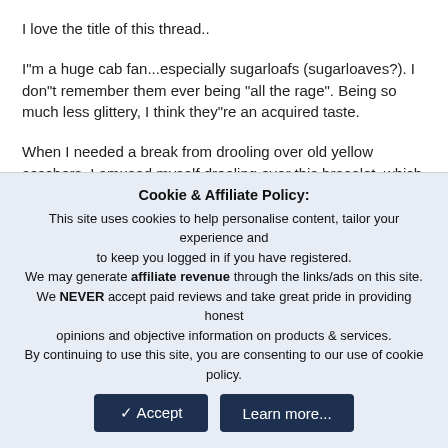I love the title of this thread..
I"m a huge cab fan...especially sugarloafs (sugarloaves?). I don"t remember them ever being "all the rage". Being so much less glittery, I think they"re an acquired taste.
When I needed a break from drooling over old yellow asschers, I amused myself drooling over this bracelet, which features sugarloaf cab emeralds.
I can see why it's worth it. Estimated seller $48 th...
Cookie & Affiliate Policy:
This site uses cookies to help personalise content, tailor your experience and to keep you logged in if you have registered.
We may generate affiliate revenue through the links/ads on this site.
We NEVER accept paid reviews and take great pride in providing honest opinions and objective information on products & services.
By continuing to use this site, you are consenting to our use of cookie policy.